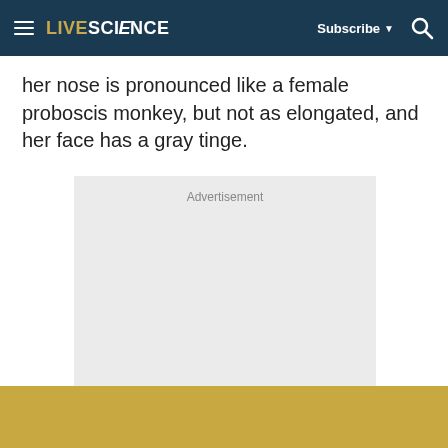LIVESCIENCE  Subscribe  [search]
her nose is pronounced like a female proboscis monkey, but not as elongated, and her face has a gray tinge.
[Figure (other): Advertisement placeholder box with light gray background and 'Advertisement' label at the top center.]